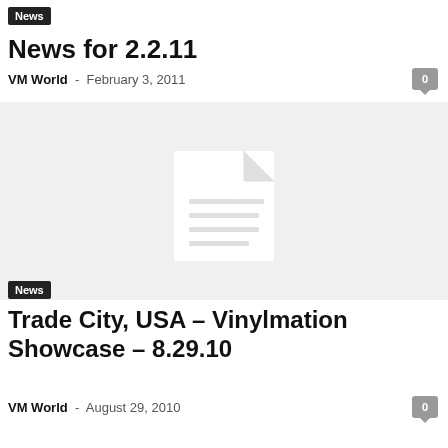News
News for 2.2.11
VM World  -  February 3, 2011
[Figure (illustration): Gray placeholder image with a white document/file icon in the center]
News
Trade City, USA – Vinylmation Showcase – 8.29.10
VM World  -  August 29, 2010